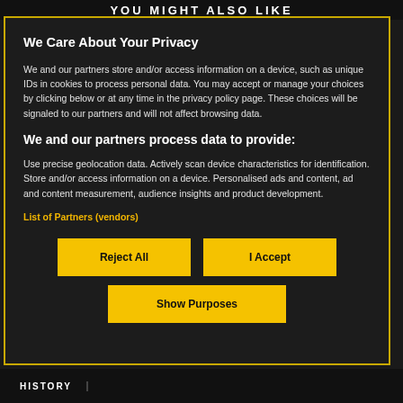YOU MIGHT ALSO LIKE
We Care About Your Privacy
We and our partners store and/or access information on a device, such as unique IDs in cookies to process personal data. You may accept or manage your choices by clicking below or at any time in the privacy policy page. These choices will be signaled to our partners and will not affect browsing data.
We and our partners process data to provide:
Use precise geolocation data. Actively scan device characteristics for identification. Store and/or access information on a device. Personalised ads and content, ad and content measurement, audience insights and product development.
List of Partners (vendors)
Reject All
I Accept
Show Purposes
HISTORY